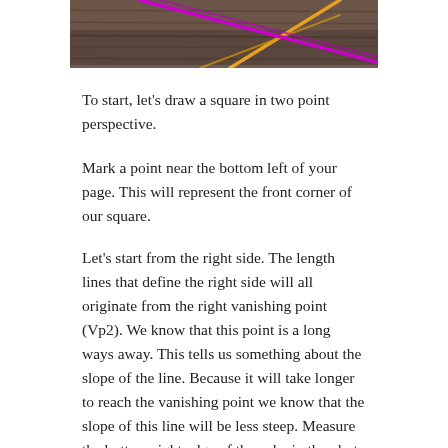[Figure (photo): Partial view of a photo showing a wooden surface with colored pencil lines (orange/yellow and magenta/purple) crossing, representing perspective lines on a reference photo of a cube.]
To start, let's draw a square in two point perspective.
Mark a point near the bottom left of your page. This will represent the front corner of our square.
Let's start from the right side. The length lines that define the right side will all originate from the right vanishing point (Vp2). We know that this point is a long ways away. This tells us something about the slope of the line. Because it will take longer to reach the vanishing point we know that the slope of this line will be less steep. Measure the bottom right edge of the cube in the photo to get the exact slope.
Repeat the same process on the left side. The length lines that define the left side will be much steeper.